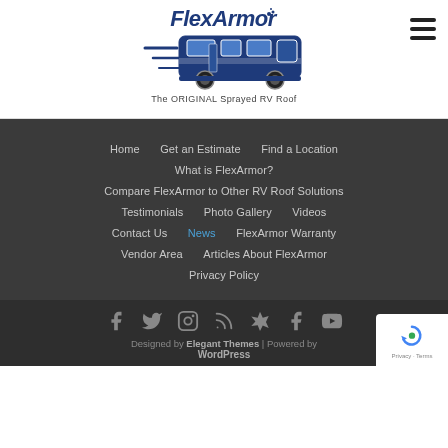[Figure (logo): FlexArmor logo with RV illustration and tagline 'The ORIGINAL Sprayed RV Roof']
[Figure (other): Hamburger menu icon (three horizontal lines)]
Home
Get an Estimate
Find a Location
What is FlexArmor?
Compare FlexArmor to Other RV Roof Solutions
Testimonials
Photo Gallery
Videos
Contact Us
News
FlexArmor Warranty
Vendor Area
Articles About FlexArmor
Privacy Policy
[Figure (other): Social media icons row: Facebook, Twitter, Instagram, RSS, Yelp, Facebook, YouTube]
Designed by Elegant Themes | Powered by WordPress